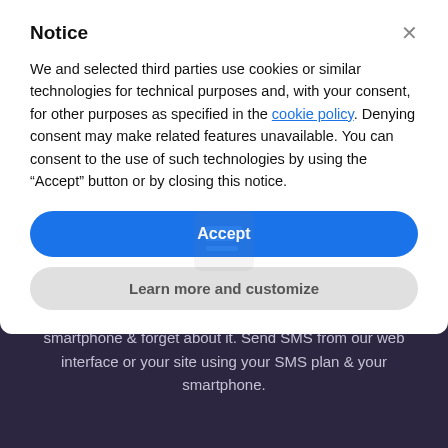Notice
We and selected third parties use cookies or similar technologies for technical purposes and, with your consent, for other purposes as specified in the cookie policy. Denying consent may make related features unavailable. You can consent to the use of such technologies by using the “Accept” button or by closing this notice.
Accept
Learn more and customize
smartphone & forget about it. Send SMS from our web interface or your site using your SMS plan & your smartphone.